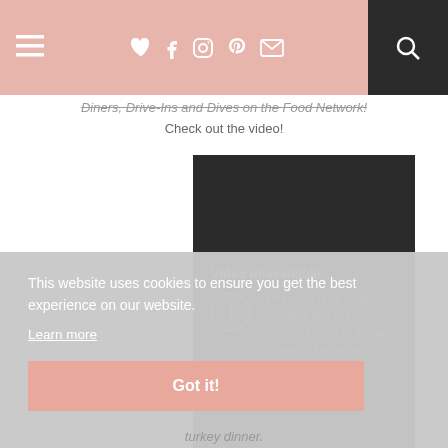Navigation bar with hamburger menu, social icons (heart, facebook, instagram, pinterest, mail), and search button
Diners, Drive-Ins and Dives on the Food Network! Check out the video!
[Figure (screenshot): Embedded video player showing error message: 'Video unavailable. This video is no longer available due to a copyright claim by Scripps Networks Interactive, Inc.' with a warning circle icon on dark background.]
This website uses cookies to ensure you get the best experience on our website.
Learn more
Got it!
turkey dinner.